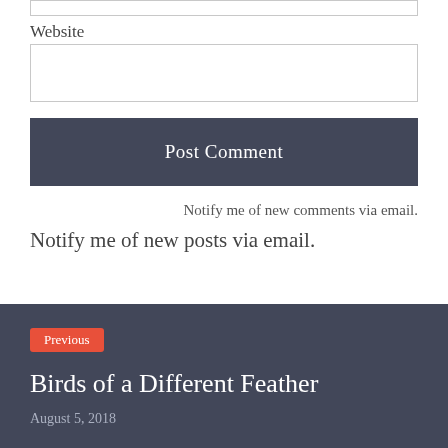[Figure (screenshot): Top edge of an input text field (website form field), partially cropped]
Website
[Figure (screenshot): Website text input field, empty, with light border]
[Figure (screenshot): Post Comment submit button, dark slate background with white text]
Notify me of new comments via email.
Notify me of new posts via email.
[Figure (screenshot): Previous post navigation card with dark slate background, red 'Previous' badge, title 'Birds of a Different Feather', date August 5, 2018]